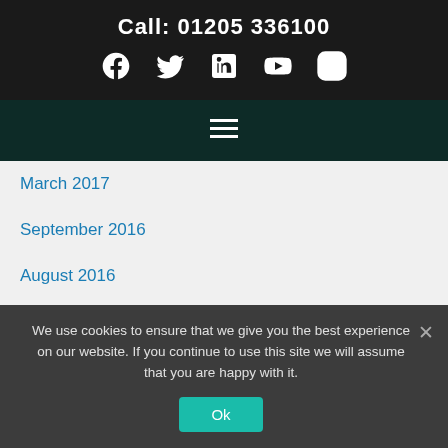Call: 01205 336100
March 2017
September 2016
August 2016
July 2016
June 2016
May 2016
April 2016
We use cookies to ensure that we give you the best experience on our website. If you continue to use this site we will assume that you are happy with it.